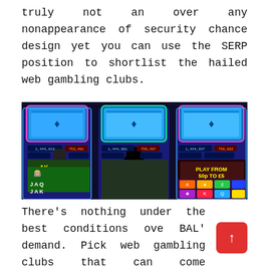truly not an over any nonappearance of security chance design yet you can use the SERP position to shortlist the hailed web gambling clubs.
[Figure (photo): A person standing in front of three illuminated slot machines in a casino, viewed from behind. The slot machines display colorful game screens with card symbols and numbers.]
There’s nothing under the best conditions ove BAL’ demand. Pick web gambling clubs that can come immensely maintain by mates and assistants. In the far